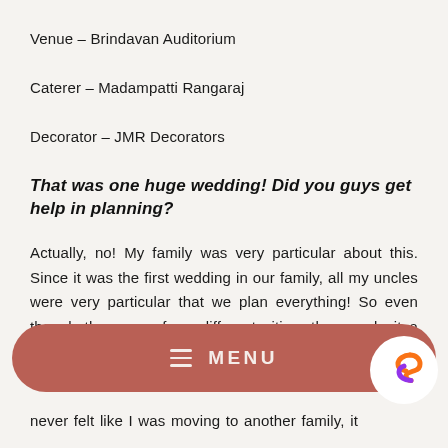Venue – Brindavan Auditorium
Caterer – Madampatti Rangaraj
Decorator – JMR Decorators
That was one huge wedding! Did you guys get help in planning?
Actually, no! My family was very particular about this. Since it was the first wedding in our family, all my uncles were very particular that we plan everything! So even though they were from different cities, they made it a point to travel to
never felt like I was moving to another family, it was tha